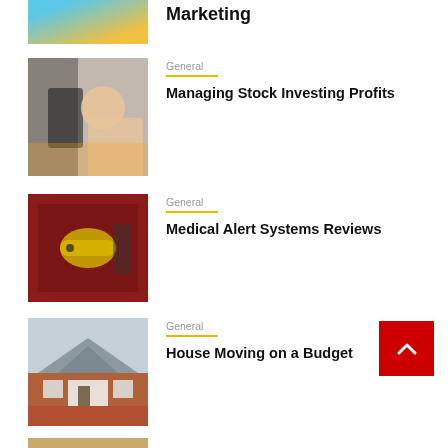[Figure (photo): Partial view of a top article thumbnail (marketing/business topic) — cropped at top]
Marketing
[Figure (photo): Two women in a cafe, one looking at her phone, discussing finances]
General
Managing Stock Investing Profits
[Figure (photo): Gold padlock close-up on red background]
General
Medical Alert Systems Reviews
[Figure (photo): Exterior of a house under construction/new build]
General
House Moving on a Budget
[Figure (photo): Partial view of a bottom article thumbnail — cropped at bottom]